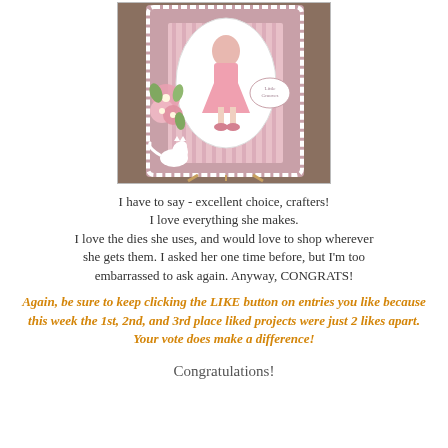[Figure (photo): A handmade craft card featuring a vintage-style lady in pink dress with floral embellishments, die-cut doily border, and decorative elements displayed on a small easel outdoors.]
I have to say - excellent choice, crafters! I love everything she makes. I love the dies she uses, and would love to shop wherever she gets them. I asked her one time before, but I'm too embarrassed to ask again. Anyway, CONGRATS!
Again, be sure to keep clicking the LIKE button on entries you like because this week the 1st, 2nd, and 3rd place liked projects were just 2 likes apart. Your vote does make a difference!
Congratulations!